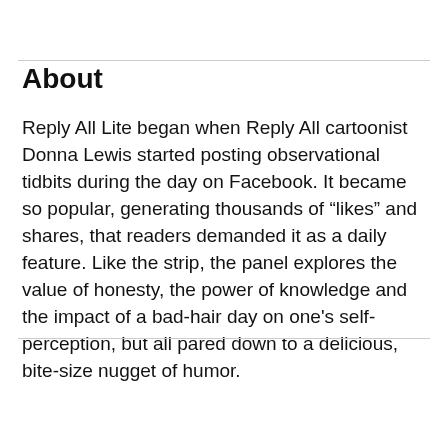About
Reply All Lite began when Reply All cartoonist Donna Lewis started posting observational tidbits during the day on Facebook. It became so popular, generating thousands of “likes” and shares, that readers demanded it as a daily feature. Like the strip, the panel explores the value of honesty, the power of knowledge and the impact of a bad-hair day on one’s self-perception, but all pared down to a delicious, bite-size nugget of humor.